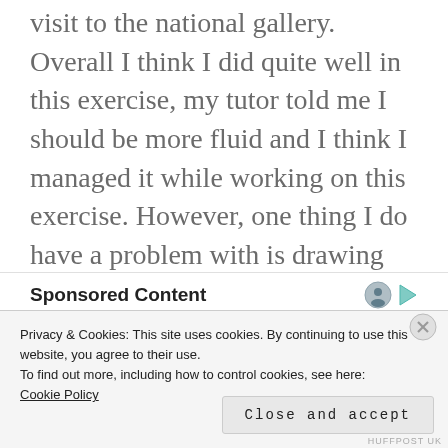visit to the national gallery. Overall I think I did quite well in this exercise, my tutor told me I should be more fluid and I think I managed it while working on this exercise. However, one thing I do have a problem with is drawing the very dark tones on a textured surface such as this which is something I will have to work on.
Sponsored Content
Privacy & Cookies: This site uses cookies. By continuing to use this website, you agree to their use.
To find out more, including how to control cookies, see here:
Cookie Policy